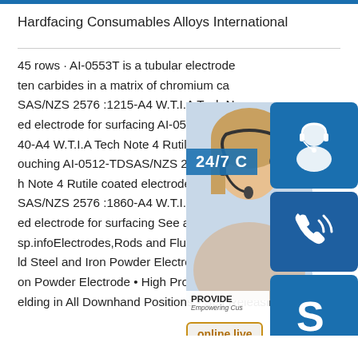Hardfacing Consumables Alloys International
45 rows · AI-0553T is a tubular electrode ten carbides in a matrix of chromium car SAS/NZS 2576 :1215-A4 W.T.I.A Tech N ed electrode for surfacing AI-0508-TDSA 40-A4 W.T.I.A Tech Note 4 Rutile coated ouching AI-0512-TDSAS/NZS 2576 :155 h Note 4 Rutile coated electrode for surfa SAS/NZS 2576 :1860-A4 W.T.I.A Tech N ed electrode for surfacing See all 45 rows on alloysint.au sp.infoElectrodes,Rods and Fluxes - Welding Supplies Mi ld Steel and Iron Powder Electrodes • Rutile Type High Ir on Powder Electrode • High Productivity Fillet and Butt W elding in All Downhand Positions • Self Releasing Slag •
[Figure (photo): Customer service representative with headset, alongside icons for 24/7 support, phone, Skype, and an 'online live' button. Blue color scheme.]